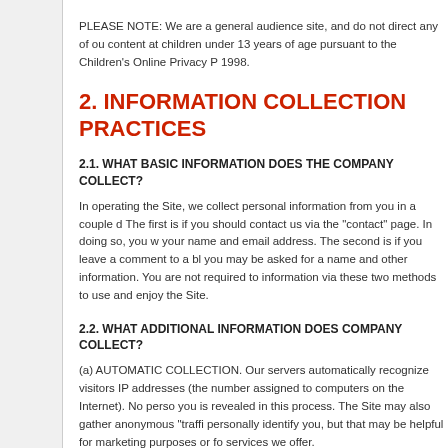PLEASE NOTE: We are a general audience site, and do not direct any of our content at children under 13 years of age pursuant to the Children's Online Privacy Protection Act of 1998.
2. INFORMATION COLLECTION PRACTICES
2.1. WHAT BASIC INFORMATION DOES THE COMPANY COLLECT?
In operating the Site, we collect personal information from you in a couple of ways. The first is if you should contact us via the “contact” page. In doing so, you will provide your name and email address. The second is if you leave a comment to a blog post, you may be asked for a name and other information. You are not required to provide information via these two methods to use and enjoy the Site.
2.2. WHAT ADDITIONAL INFORMATION DOES COMPANY COLLECT?
(a) AUTOMATIC COLLECTION. Our servers automatically recognize visitors’ IP addresses (the number assigned to computers on the Internet). No personal information about you is revealed in this process. The Site may also gather anonymous “traffic data” that does not personally identify you, but that may be helpful for marketing purposes or for improving the services we offer.
(b) COOKIES. From time to time, we may use the standard “cookies” feature of major browser applications that allows us to store a small piece of data on your computer...